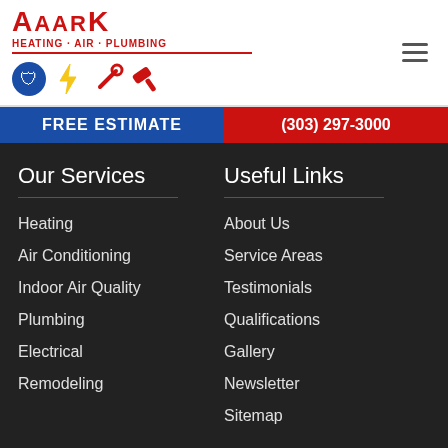[Figure (logo): AaarK Heating - Air - Plumbing logo with red text and service icons]
FREE ESTIMATE
(303) 297-3000
Our Services
Heating
Air Conditioning
Indoor Air Quality
Plumbing
Electrical
Remodeling
Useful Links
About Us
Service Areas
Testimonials
Qualifications
Gallery
Newsletter
Sitemap